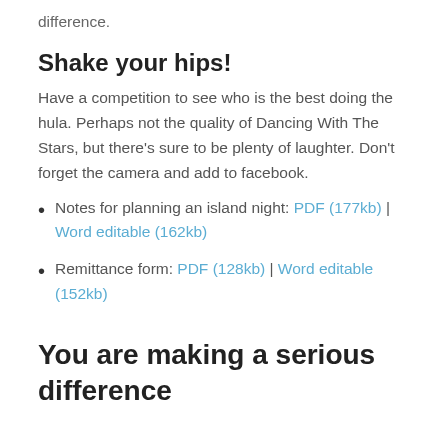difference.
Shake your hips!
Have a competition to see who is the best doing the hula. Perhaps not the quality of Dancing With The Stars, but there's sure to be plenty of laughter. Don't forget the camera and add to facebook.
Notes for planning an island night: PDF (177kb) | Word editable (162kb)
Remittance form: PDF (128kb) | Word editable (152kb)
You are making a serious difference